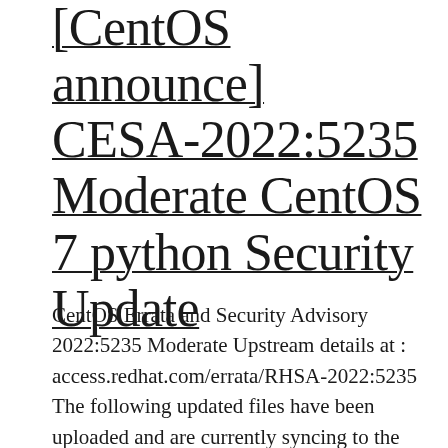[CentOS announce] CESA-2022:5235 Moderate CentOS 7 python Security Update
CentOS Errata and Security Advisory 2022:5235 Moderate Upstream details at : access.redhat.com/errata/RHSA-2022:5235 The following updated files have been uploaded and are currently syncing to the mirrors: ( sha256sum Filename ) x86_64: